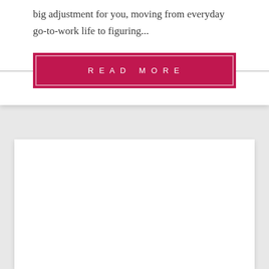big adjustment for you, moving from everyday go-to-work life to figuring...
READ MORE